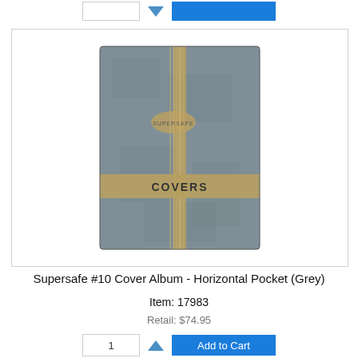[Figure (photo): Grey Supersafe #10 Cover Album binder with gold stripe and 'COVERS' label on front]
Supersafe #10 Cover Album - Horizontal Pocket (Grey)
Item: 17983
Retail: $74.95